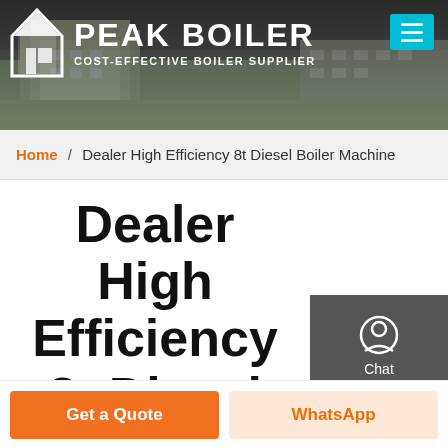[Figure (screenshot): Peak Boiler company website screenshot with header banner showing building, logo, navigation, breadcrumb, product title, contact sidebar, product image, and CTA buttons]
PEAK BOILER COST-EFFECTIVE BOILER SUPPLIER
Home / Dealer High Efficiency 8t Diesel Boiler Machine
Dealer High Efficiency 8t Diesel Boiler Machine
Chat
Email
Contact
Get a Quote
WhatsApp